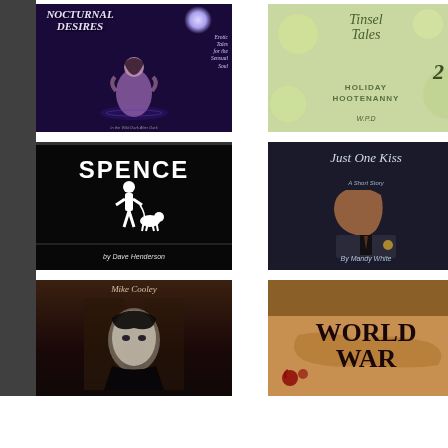[Figure (illustration): Book cover: Nocturnal Desires - fantasy/romance book cover with woman in water under moonlit night sky, purple tones]
[Figure (illustration): Book cover: Tinsel Tales 2 Holiday Hootenanny - holiday themed book cover with floral/green background, W.P.D. author]
[Figure (illustration): Book cover: SPENCE by Dave Henderson - black cover with white silhouette of person and dog]
[Figure (illustration): Book cover: Just One Kiss A Short Story By Mandy White - dark cover with couple kissing]
[Figure (illustration): Book cover: Mike Cooley - dark cover with woman's face]
[Figure (illustration): Book cover: World War - orange/tan cover with bold title text]